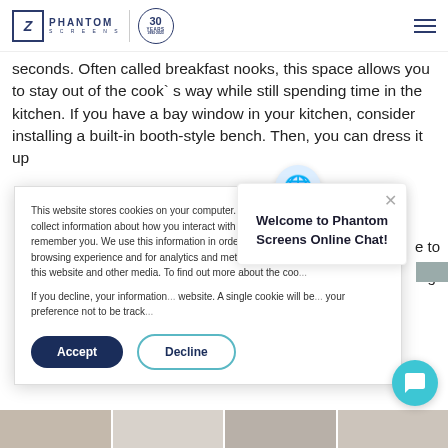Phantom Screens 30 Years
seconds. Often called breakfast nooks, this space allows you to stay out of the cook`s way while still spending time in the kitchen. If you have a bay window in your kitchen, consider installing a built-in booth-style bench. Then, you can dress it up
This website stores cookies on your computer. These cookies are used to collect information about how you interact with our website and allow us to remember you. We use this information in order to improve and customize your browsing experience and for analytics and metrics about our visitors both on this website and other media. To find out more about the coo...
If you decline, your information... website. A single cookie will be... your preference not to be track...
Welcome to Phantom Screens Online Chat!
[Figure (screenshot): Cookie consent overlay with Accept and Decline buttons, and a chat popup saying 'Welcome to Phantom Screens Online Chat!']